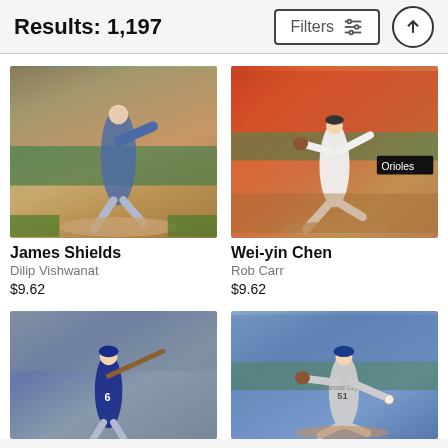Results: 1,197
[Figure (screenshot): Filters button with sliders icon]
[Figure (photo): James Shields pitching in blue uniform on baseball field]
James Shields
Dilip Vishwanat
$9.62
[Figure (photo): Wei-yin Chen pitching in white Orioles uniform #18 on baseball field]
Wei-yin Chen
Rob Carr
$9.62
[Figure (photo): Baseball batter in blue uniform at plate]
[Figure (photo): Kansas City pitcher #51 in grey uniform throwing pitch]